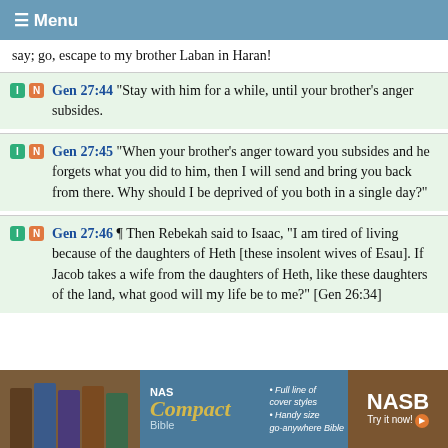≡ Menu
say; go, escape to my brother Laban in Haran!
Gen 27:44 "Stay with him for a while, until your brother's anger subsides.
Gen 27:45 "When your brother's anger toward you subsides and he forgets what you did to him, then I will send and bring you back from there. Why should I be deprived of you both in a single day?"
Gen 27:46 ¶ Then Rebekah said to Isaac, "I am tired of living because of the daughters of Heth [these insolent wives of Esau]. If Jacob takes a wife from the daughters of Heth, like these daughters of the land, what good will my life be to me?" [Gen 26:34]
[Figure (illustration): Advertisement banner for NAS Compact Bible by NASB showing leather-bound Bible covers, with text 'NAS Compact Bible', bullet points 'Full line of cover styles' and 'Handy size go-anywhere Bible', and 'NASB Try it now!' button on right.]